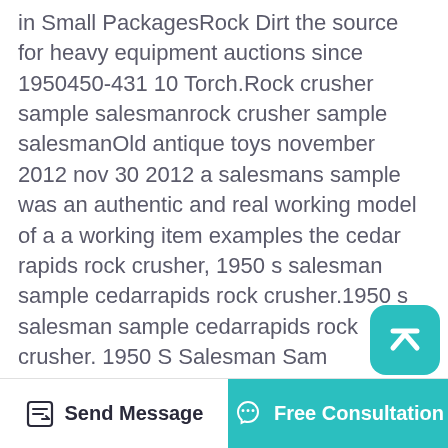in Small PackagesRock Dirt the source for heavy equipment auctions since 1950450-431 10 Torch.Rock crusher sample salesmanrock crusher sample salesmanOld antique toys november 2012 nov 30 2012 a salesmans sample was an authentic and real working model of a a working item examples the cedar rapids rock crusher, 1950 s salesman sample cedarrapids rock crusher.1950 s salesman sample cedarrapids rock crusher. 1950 S Salesman Sam Cedarrapids Rock Crusher Reuhl model cedarap rock crusher bluesfuseeuhl cedar rapids rock crusher euhl model cedarapids rock crusher tivlabseuhl model cedarapids rock crusher 3dclusterld antique toys the cedar rapids rock crusher nov 28 2012 the thing is that i kept getting ruehl Oct 20, 2020 S salesman sample cedarrapids
[Figure (other): Scroll-to-top button: teal rounded square with upward chevron arrow icon]
[Figure (other): Bottom action bar with 'Send Message' button (left, white background, pencil/edit icon) and 'Free Consultation' button (right, teal background, headset icon)]